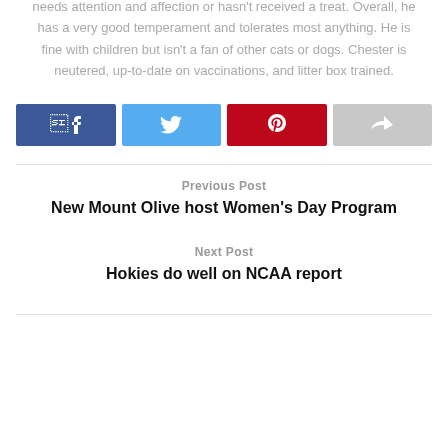you're not looking. He communicates with humans with head-butts when he needs attention and affection or hasn't received a treat. Overall, he has a very good temperament and tolerates most anything. He is fine with children but isn't a fan of other cats or dogs. Chester is neutered, up-to-date on vaccinations, and litter box trained.
[Figure (infographic): Four social share buttons in a row: Facebook (dark blue with f icon), Twitter (light blue with bird icon), Pinterest (red with pin icon), Share (gray with share icon)]
Previous Post
New Mount Olive host Women's Day Program
Next Post
Hokies do well on NCAA report